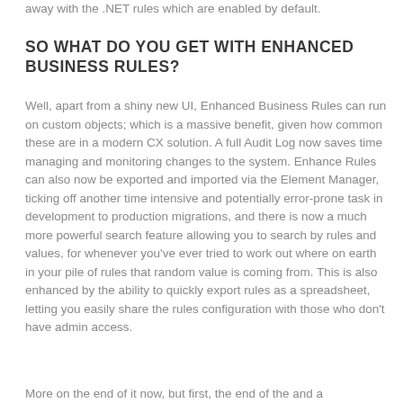away with the .NET rules which are enabled by default.
SO WHAT DO YOU GET WITH ENHANCED BUSINESS RULES?
Well, apart from a shiny new UI, Enhanced Business Rules can run on custom objects; which is a massive benefit, given how common these are in a modern CX solution. A full Audit Log now saves time managing and monitoring changes to the system. Enhance Rules can also now be exported and imported via the Element Manager, ticking off another time intensive and potentially error-prone task in development to production migrations, and there is now a much more powerful search feature allowing you to search by rules and values, for whenever you've ever tried to work out where on earth in your pile of rules that random value is coming from. This is also enhanced by the ability to quickly export rules as a spreadsheet, letting you easily share the rules configuration with those who don't have admin access.
More on the end of it now, but first, the end of the and a